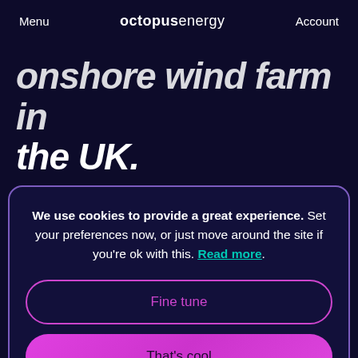Menu | octopus energy | Account
onshore wind farm in the UK.
[Figure (screenshot): Gradient grey/blue image area partially visible behind cookie modal]
We use cookies to provide a great experience. Set your preferences now, or just move around the site if you're ok with this. Read more.
Fine tune
That's cool